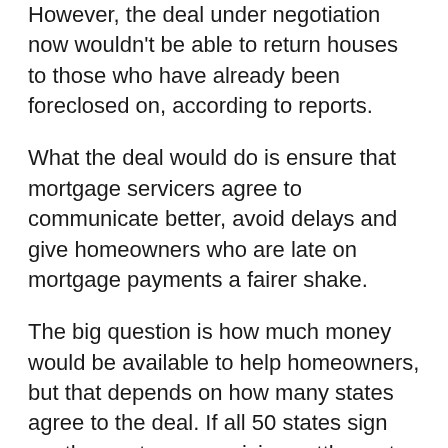However, the deal under negotiation now wouldn't be able to return houses to those who have already been foreclosed on, according to reports.
What the deal would do is ensure that mortgage servicers agree to communicate better, avoid delays and give homeowners who are late on mortgage payments a fairer shake.
The big question is how much money would be available to help homeowners, but that depends on how many states agree to the deal. If all 50 states sign on, the mortgage servicing settlement has the potential to offer the largest housing relief program available to ordinary Americans since the financial crisis began.
However, attorneys general from California and Delaware have said the deal, as drafted last week,